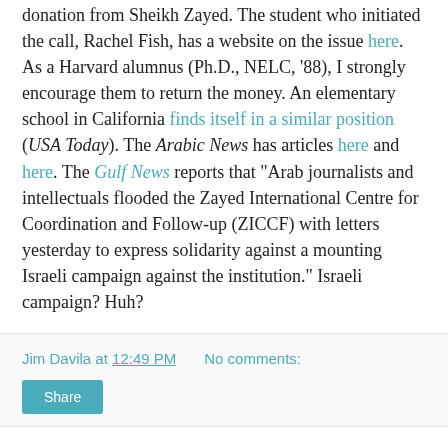donation from Sheikh Zayed. The student who initiated the call, Rachel Fish, has a website on the issue here. As a Harvard alumnus (Ph.D., NELC, '88), I strongly encourage them to return the money. An elementary school in California finds itself in a similar position (USA Today). The Arabic News has articles here and here. The Gulf News reports that "Arab journalists and intellectuals flooded the Zayed International Centre for Coordination and Follow-up (ZICCF) with letters yesterday to express solidarity against a mounting Israeli campaign against the institution." Israeli campaign? Huh?
Jim Davila at 12:49 PM   No comments:
Share
ACCORDING TO MY BRAVENET COUNTER, when I checked it this morning, I'd had 30 first-time visitors and -30 returning visitors today for a grand total of zero. One returning visitor has shown up meanwhile, bringing the